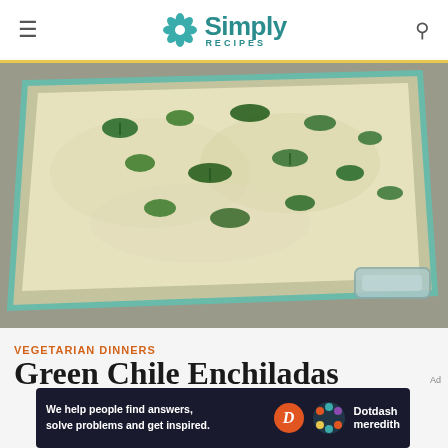Simply Recipes
[Figure (photo): A glass baking dish filled with green chile enchiladas topped with melted white cheese and fresh chopped cilantro, photographed from above at an angle on a grey surface.]
VEGETARIAN DINNERS
Green Chile Enchiladas
[Figure (other): Dotdash Meredith advertisement banner: 'We help people find answers, solve problems and get inspired.' with Dotdash Meredith logo]